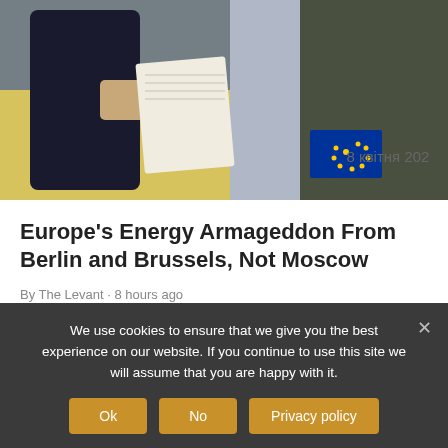[Figure (photo): Two people exchanging a document at a podium with Ukrainian flag in background and EU flag visible; text '8 квітня 202' visible]
Europe's Energy Armageddon From Berlin and Brussels, Not Moscow
By The Levant · 8 hours ago
On August 22 the exchange-traded market price for natural gas in the German THE (Trading Hub Europe) gas hub was trading more
We use cookies to ensure that we give you the best experience on our website. If you continue to use this site we will assume that you are happy with it.